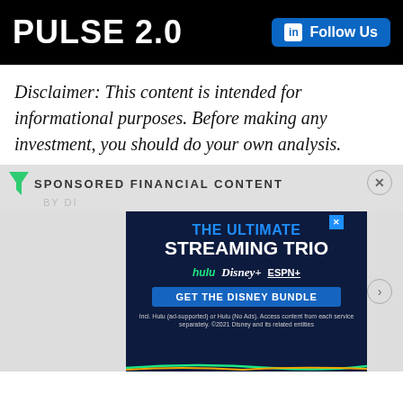PULSE 2.0
Disclaimer: This content is intended for informational purposes. Before making any investment, you should do your own analysis.
SPONSORED FINANCIAL CONTENT
BY DI...
[Figure (screenshot): Disney Bundle advertisement showing 'THE ULTIMATE STREAMING TRIO' with Hulu, Disney+, and ESPN+ logos and a 'GET THE DISNEY BUNDLE' button on a dark navy background.]